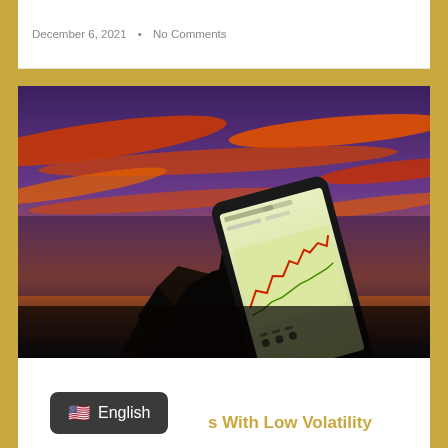December 6, 2021  •  No Comments
[Figure (photo): Silhouette of a hand holding a smartphone displaying a stock market chart against a dramatic sunset sky with orange and red clouds]
[Figure (other): Language selector badge showing US flag and 'English' text in dark rounded rectangle]
s With Low Volatility